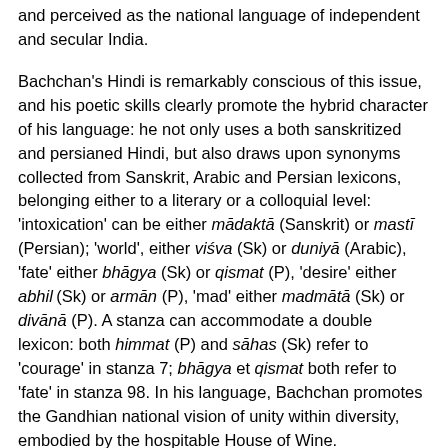and perceived as the national language of independent and secular India.
Bachchan's Hindi is remarkably conscious of this issue, and his poetic skills clearly promote the hybrid character of his language: he not only uses a both sanskritized and persianed Hindi, but also draws upon synonyms collected from Sanskrit, Arabic and Persian lexicons, belonging either to a literary or a colloquial level: 'intoxication' can be either mādaktā (Sanskrit) or mastī (Persian); 'world', either viśva (Sk) or duniyā (Arabic), 'fate' either bhāgya (Sk) or qismat (P), 'desire' either abhil (Sk) or armān (P), 'mad' either madmātā (Sk) or divānā (P). A stanza can accommodate a double lexicon: both himmat (P) and sāhas (Sk) refer to 'courage' in stanza 7; bhāgya et qismat both refer to 'fate' in stanza 98. In his language, Bachchan promotes the Gandhian national vision of unity within diversity, embodied by the hospitable House of Wine.
Similarly, the sāqī, a key figure of the collection, is used as a transitory character who articulates the utopian place